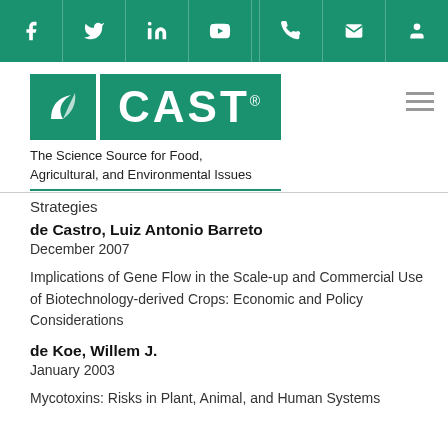[Figure (logo): CAST website navigation bar with social media icons (Facebook, Twitter, LinkedIn, YouTube) and contact icons (phone, email, profile) on green background]
[Figure (logo): CAST logo - Council for Agricultural Science and Technology - green square with abstract icon plus green rectangle with CAST text, tagline: The Science Source for Food, Agricultural, and Environmental Issues]
Strategies
de Castro, Luiz Antonio Barreto
December 2007
Implications of Gene Flow in the Scale-up and Commercial Use of Biotechnology-derived Crops: Economic and Policy Considerations
de Koe, Willem J.
January 2003
Mycotoxins: Risks in Plant, Animal, and Human Systems